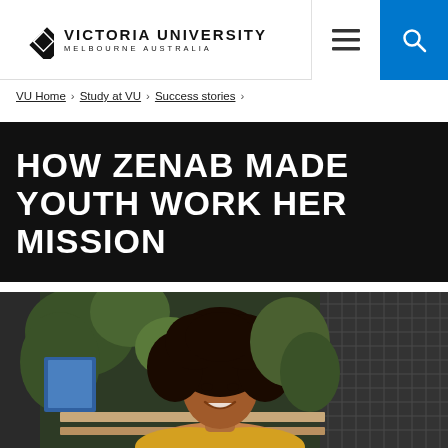Victoria University Melbourne Australia
VU Home > Study at VU > Success stories >
HOW ZENAB MADE YOUTH WORK HER MISSION
[Figure (photo): A smiling young woman with curly hair wearing a yellow floral top, photographed in front of green plants and a lattice background in an indoor setting.]